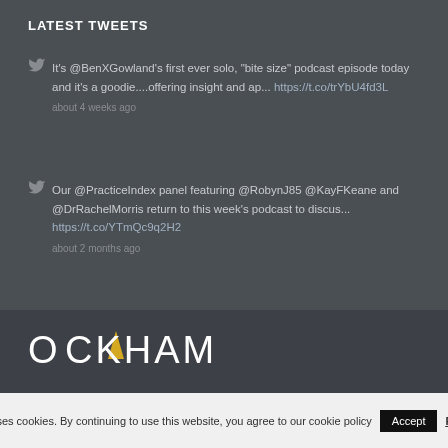LATEST TWEETS
It's @BenXGowland's first ever solo, "bite size" podcast episode today and it's a goodie....offering insight and ap... https://t.co/trYbU4fd3L
about 4 weeks ago
Our @PracticeIndex panel featuring @RobynJ85 @KayFKeane and @DrRachelMorris return to this week's podcast to discus... https://t.co/YTmQc9q2H2
about 2 months ago
[Figure (logo): OCKHAM logo with triangle icon in gold/yellow]
This site uses cookies. By continuing to use this website, you agree to our cookie policy Accept Read More